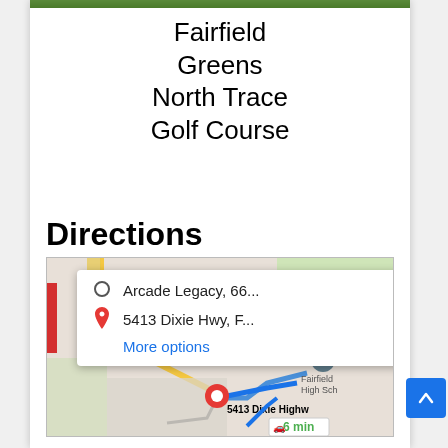Fairfield Greens North Trace Golf Course
Directions
[Figure (map): Google Maps screenshot showing directions from Arcade Legacy, 66... to 5413 Dixie Hwy, F... with a route overlay and popup card. Map shows Siemore Metropark area, Fairfield High School, and a 6 min car route label. Red destination pin at 5413 Dixie Highway.]